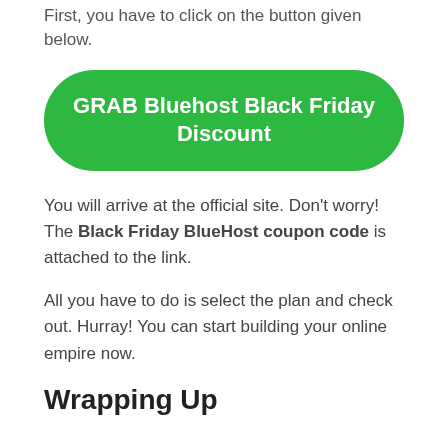First, you have to click on the button given below.
[Figure (other): Green rounded button with white text reading 'GRAB Bluehost Black Friday Discount']
You will arrive at the official site. Don't worry! The Black Friday BlueHost coupon code is attached to the link.
All you have to do is select the plan and check out. Hurray! You can start building your online empire now.
Wrapping Up